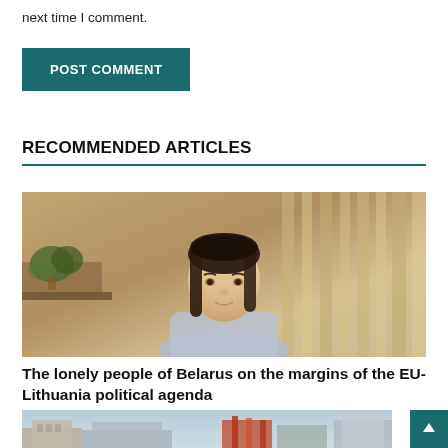next time I comment.
POST COMMENT
RECOMMENDED ARTICLES
[Figure (photo): A woman with dark hair wearing a light blue outfit, seated in front of a beige/tan background with soft lighting. A plant is visible in the background.]
The lonely people of Belarus on the margins of the EU-Lithuania political agenda
[Figure (photo): A cityscape showing buildings including what appears to be government or civic architecture.]